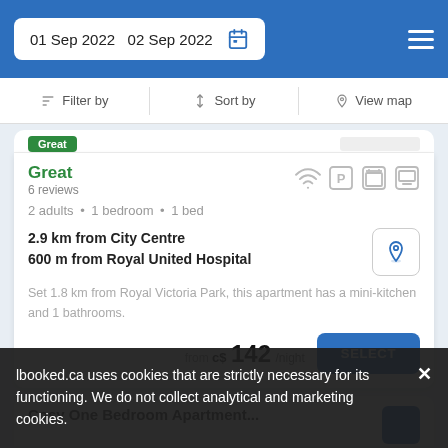01 Sep 2022  02 Sep 2022
Filter by  Sort by  View map
Great
6 reviews
2 adults • 1 bedroom • 1 bed
2.9 km from City Centre
600 m from Royal United Hospital
Set 1.8 km from Royal Victoria Park, this apartment has a mini-kitchen and 1 bathrooms.
from c$ 142/night
Cosy One Bedroom Apartment...
lbooked.ca uses cookies that are strictly necessary for its functioning. We do not collect analytical and marketing cookies.